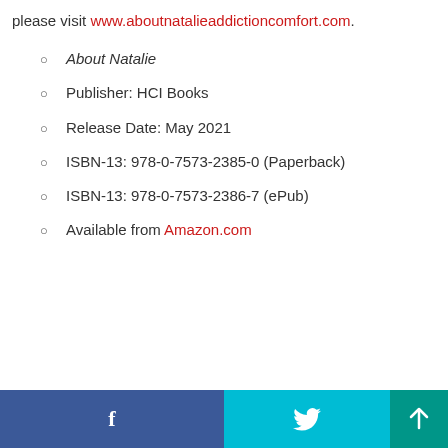please visit www.aboutnatalieaddictioncomfort.com.
About Natalie
Publisher: HCI Books
Release Date: May 2021
ISBN-13: 978-0-7573-2385-0 (Paperback)
ISBN-13: 978-0-7573-2386-7 (ePub)
Available from Amazon.com
Facebook | Twitter | Back to top